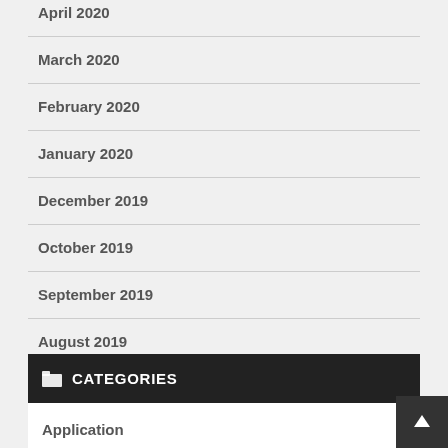April 2020
March 2020
February 2020
January 2020
December 2019
October 2019
September 2019
August 2019
July 2019
CATEGORIES
Application